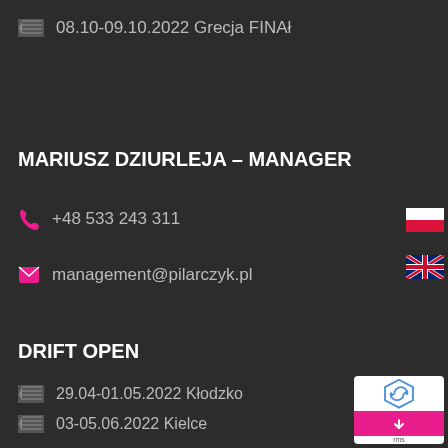08.10-09.10.2022 Grecja FINAŁ
MARIUSZ DZIURLEJA – MANAGER
+48 533 243 311
management@pilarczyk.pl
DRIFT OPEN
29.04-01.05.2022 Kłodzko
03-05.06.2022 Kielce